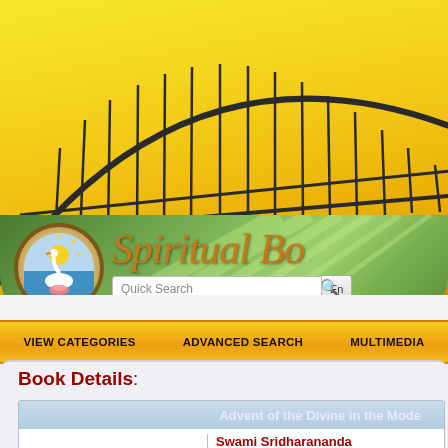[Figure (screenshot): Website header with yellow/golden sky background, Sydney Harbour Bridge silhouette, green lotus/leaf banner with circular logo (swan on water), site title 'Spiritual Bo...' in gold italic script, Quick Search input box, and Enter button]
VIEW CATEGORIES   ADVANCED SEARCH   MULTIMEDIA
Book Details:
Advent of the Divine in the Mode...
Swami Sridharananda
Talks by Swami Sridharananda-ji